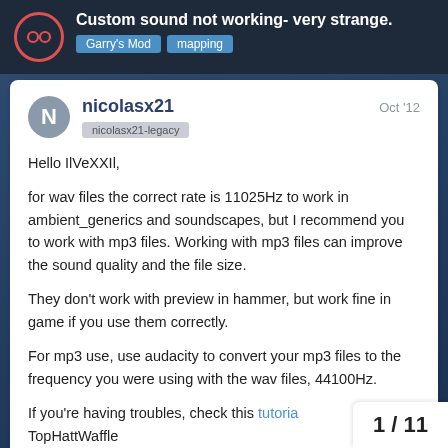Custom sound not working- very strange. Garry's Mod  mapping
nicolasx21
ncolasx21-legacy
Oct '12
Hello IlVeXXIl,

for wav files the correct rate is 11025Hz to work in ambient_generics and soundscapes, but I recommend you to work with mp3 files. Working with mp3 files can improve the sound quality and the file size.

They don't work with preview in hammer, but work fine in game if you use them correctly.

For mp3 use, use audacity to convert your mp3 files to the frequency you were using with the wav files, 44100Hz.

If you're having troubles, check this tutorial
1 / 11